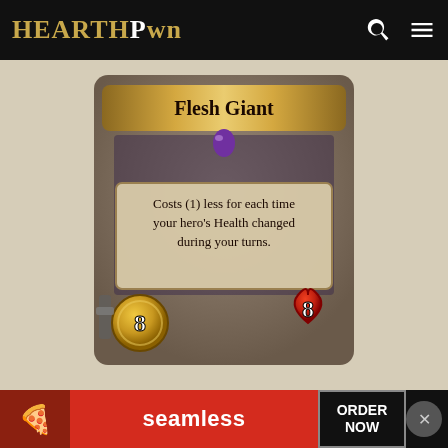HearthPwn
[Figure (illustration): Hearthstone card: Flesh Giant. Card with banner title 'Flesh Giant', purple gem in center, text box reading 'Costs (1) less for each time your hero's Health changed during your turns.', attack stat 8 (gold coin) bottom left, health stat 8 (red drop) bottom right.]
Flesh Giant
Costs (1) less for each time your hero's Health changed during your turns.
Type: Minion
Class: Priest / Warlock
Rarity: Epic
[Figure (photo): Advertisement banner: pizza image on left, Seamless logo in red center, ORDER NOW button on right with close X button]